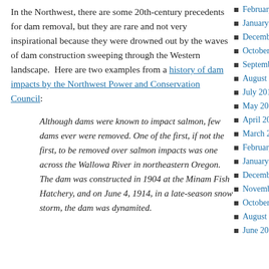In the Northwest, there are some 20th-century precedents for dam removal, but they are rare and not very inspirational because they were drowned out by the waves of dam construction sweeping through the Western landscape.  Here are two examples from a history of dam impacts by the Northwest Power and Conservation Council:
Although dams were known to impact salmon, few dams ever were removed. One of the first, if not the first, to be removed over salmon impacts was one across the Wallowa River in northeastern Oregon. The dam was constructed in 1904 at the Minam Fish Hatchery, and on June 4, 1914, in a late-season snow storm, the dam was dynamited.
February 2012
January 2012
December 2011
October 2011
September 2011
August 2011
July 2011
May 2011
April 2011
March 2011
February 2011
January 2011
December 2010
November 2010
October 2010
August 2010
June 2010